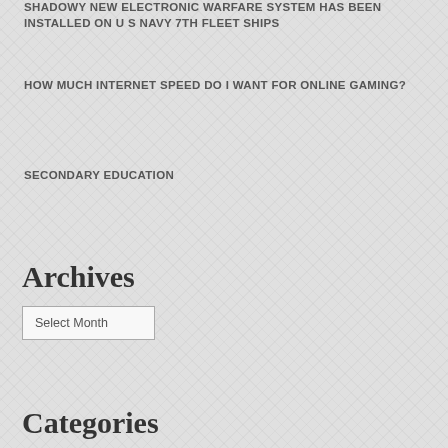SHADOWY NEW ELECTRONIC WARFARE SYSTEM HAS BEEN INSTALLED ON U S NAVY 7TH FLEET SHIPS
HOW MUCH INTERNET SPEED DO I WANT FOR ONLINE GAMING?
SECONDARY EDUCATION
Archives
Select Month
Categories